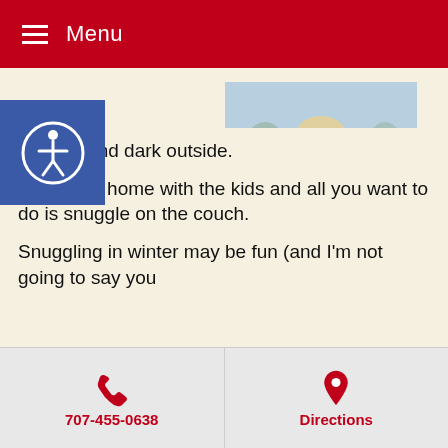Menu
[Figure (photo): Person in a white winter cape coat with pom-pom ties walking in snow, wearing brown boots]
It’s cold and dark outside.
You come home with the kids and all you want to do is snuggle on the couch.
Snuggling in winter may be fun (and I’m not going to say you
707-455-0638  Directions